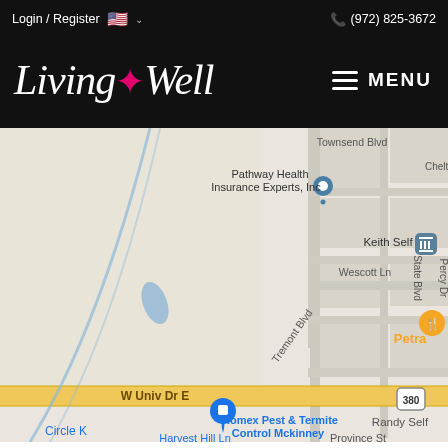Login / Register  🇺🇸 ∨   (972) 825-3672
[Figure (logo): Living Well logo with pink fleur-de-lis cross, white italic script text on black background, MENU hamburger icon on right]
[Figure (map): Google Maps screenshot showing area near W Univ Dr E / US-380 in McKinney TX, with labels: Townsend Blvd, Cheltenham Av, Pathway Health Insurance Experts Inc, Keith Self, Wescott Ln, Tremont Blvd, State Blvd, Percy Dr, Petra, Romex Pest & Termite Control Mckinney, Randy Self, Circle K, Harvest Hill Ln, Province St]